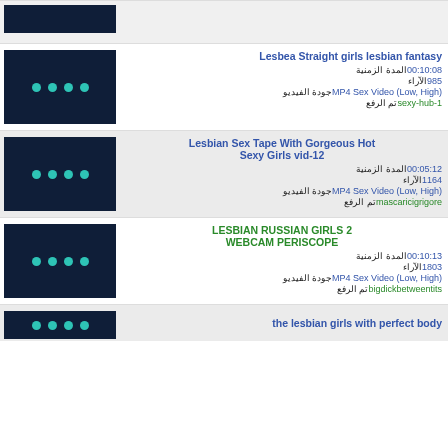[Figure (screenshot): Partial video thumbnail at top, dark navy background with teal dots]
Lesbea Straight girls lesbian fantasy | Duration: 00:10:08 | Views: 985 | Quality: MP4 Sex Video (Low, High) | Uploaded by: sexy-hub-1
Lesbian Sex Tape With Gorgeous Hot Sexy Girls vid-12 | Duration: 00:05:12 | Views: 1164 | Quality: MP4 Sex Video (Low, High) | Uploaded by: mascaricigrigore
LESBIAN RUSSIAN GIRLS 2 WEBCAM PERISCOPE | Duration: 00:10:13 | Views: 1803 | Quality: MP4 Sex Video (Low, High) | Uploaded by: bigdickbetweentits
the lesbian girls with perfect body